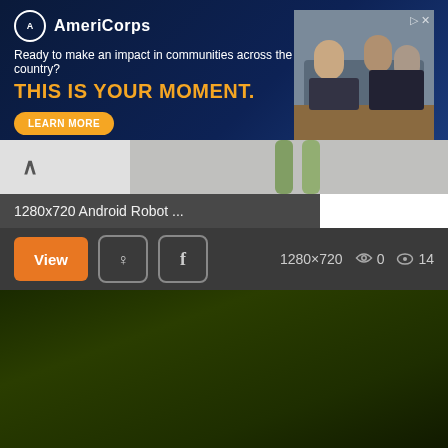[Figure (screenshot): AmeriCorps advertisement banner: dark navy blue background with AmeriCorps logo, tagline 'Ready to make an impact in communities across the country?', bold orange headline 'THIS IS YOUR MOMENT.', orange 'LEARN MORE' button, and photo of people at computers on the right side.]
[Figure (screenshot): Website UI showing a back navigation arrow on gray background, partial Android Robot 3D image preview in gray, title bar '1280x720 Android Robot ...' on dark background, controls bar with orange 'View' button, Pinterest and Facebook icon buttons, resolution '1280×720', heart icon with '0', eye icon with '14', and a large dark green/black image preview area below.]